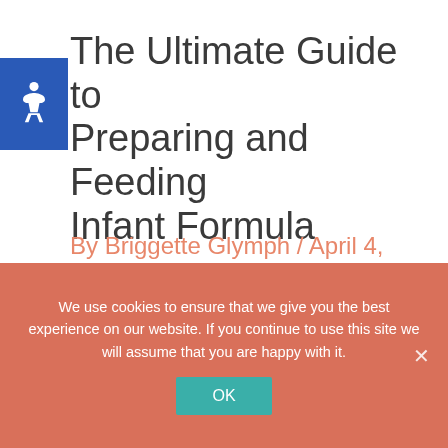The Ultimate Guide to Preparing and Feeding Infant Formula
By Briggette Glymph / April 4, 2021
Preparing infant formula- Your go-to guide After I found myself formula feeding the twins. I decided to look
We use cookies to ensure that we give you the best experience on our website. If you continue to use this site we will assume that you are happy with it.